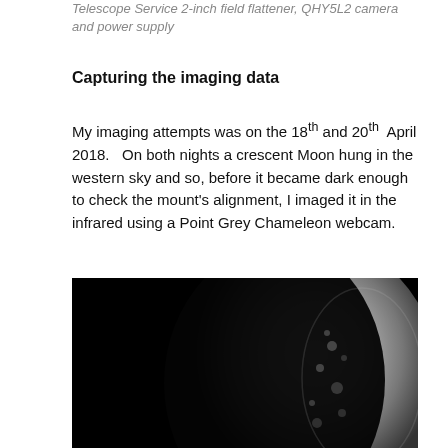Telescope Service 2-inch field flattener, QHY5L2 camera and power supply
Capturing the imaging data
My imaging attempts was on the 18th and 20th April 2018.   On both nights a crescent Moon hung in the western sky and so, before it became dark enough to check the mount's alignment, I imaged it in the infrared using a Point Grey Chameleon webcam.
[Figure (photo): Black and white infrared photograph of a crescent Moon against a black sky, showing the lunar surface detail on the illuminated limb]